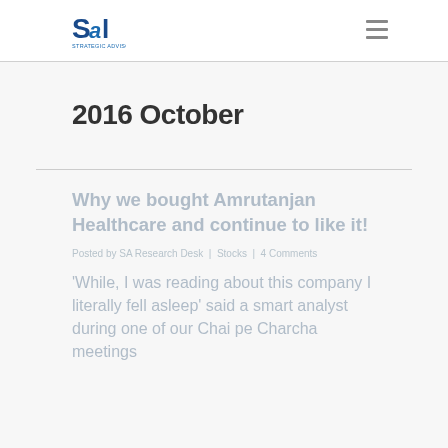[Figure (logo): SAL Strategic Advisors logo in blue]
2016 October
Why we bought Amrutanjan Healthcare and continue to like it!
Posted by SA Research Desk | Stocks | 4 Comments
'While, I was reading about this company I literally fell asleep' said a smart analyst during one of our Chai pe Charcha meetings